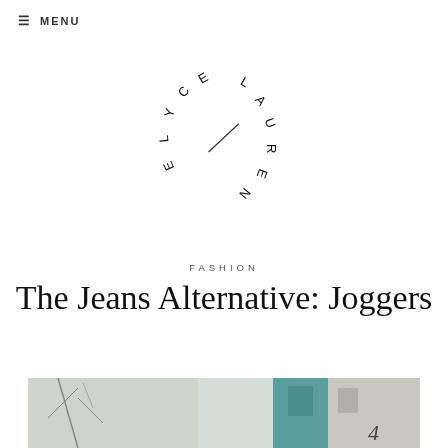≡ MENU
[Figure (logo): Circular logo with letters spelling 'ELYCE LAUREN' arranged in a circle with a diagonal line in the center]
FASHION
The Jeans Alternative: Joggers
[Figure (photo): Outdoor street photo showing a person near a building with a teal/turquoise door, bare tree branches visible on the left, building facade visible]